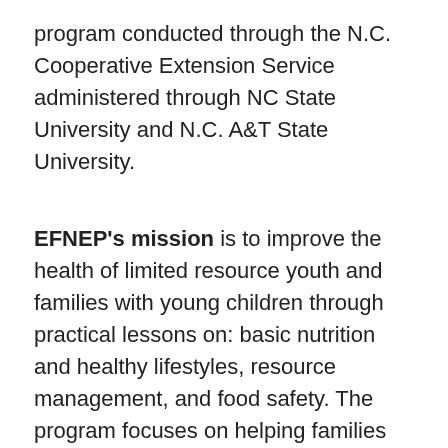program conducted through the N.C. Cooperative Extension Service administered through NC State University and N.C. A&T State University.
EFNEP's mission is to improve the health of limited resource youth and families with young children through practical lessons on: basic nutrition and healthy lifestyles, resource management, and food safety. The program focuses on helping families and youth improve behaviors in the following areas: Dietary Intake as recommended by the Dietary Guidelines and MyPlate, Food Resource Management skills and practices, Nutrition Practices and Food Safety practices. My audience focus is Youth (75%) and Adult (25%). I'm currently providing lessons for Dana Elementary and the Mountain Community School. What I hope to accomplish as an EFNEP educator is to: